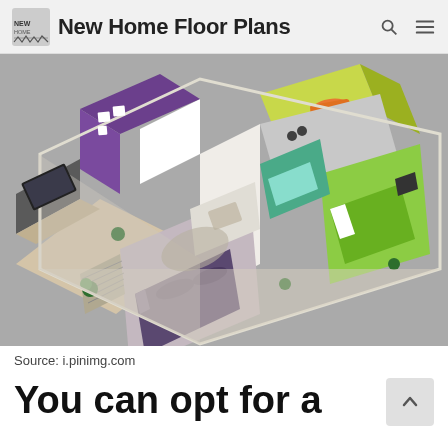New Home Floor Plans
[Figure (illustration): 3D isometric floor plan rendering of a two-bedroom apartment with living room, kitchen/dining, bathrooms, and bedrooms decorated in purple, green, and neutral tones.]
Source: i.pinimg.com
You can opt for a